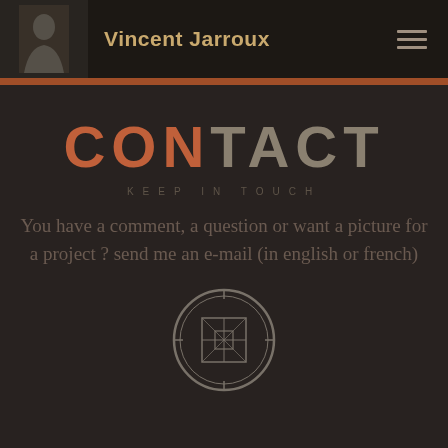Vincent Jarroux
CONTACT
KEEP IN TOUCH
You have a comment, a question or want a picture for a project ? send me an e-mail (in english or french)
[Figure (illustration): A circular stamp/icon overlay with geometric lines and a gear-like pattern in the center, rendered in a light sketchy style on dark background]